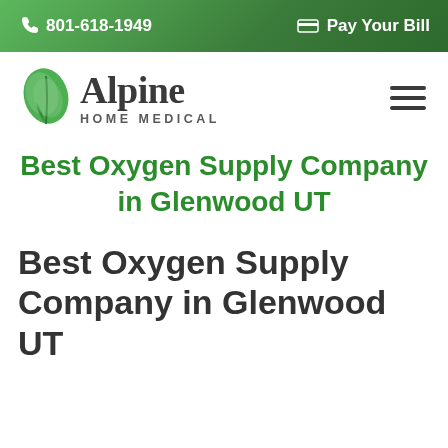801-618-1949  Pay Your Bill
[Figure (logo): Alpine Home Medical logo with green leaf icon and company name]
Best Oxygen Supply Company in Glenwood UT
Best Oxygen Supply Company in Glenwood UT